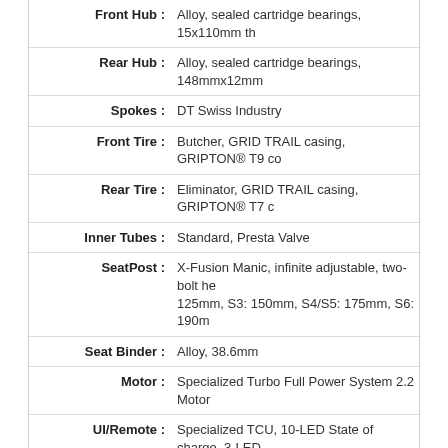| Component | Specification |
| --- | --- |
| Front Hub : | Alloy, sealed cartridge bearings, 15x110mm th |
| Rear Hub : | Alloy, sealed cartridge bearings, 148mmx12mm |
| Spokes : | DT Swiss Industry |
| Front Tire : | Butcher, GRID TRAIL casing, GRIPTON® T9 co |
| Rear Tire : | Eliminator, GRID TRAIL casing, GRIPTON® T7 c |
| Inner Tubes : | Standard, Presta Valve |
| SeatPost : | X-Fusion Manic, infinite adjustable, two-bolt he 125mm, S3: 150mm, S4/S5: 175mm, S6: 190m |
| Seat Binder : | Alloy, 38.6mm |
| Motor : | Specialized Turbo Full Power System 2.2 Motor |
| UI/Remote : | Specialized TCU, 10-LED State of charge, 3-LED |
| Battery : | Specialized M3-700, Integrated battery, 700Wh |
| Charger : | Custom charger, 42V4A w/ Rosenberger plug |
| Wiring Harness: | Custom Specialized wiring harness |
Like this product? Please share it with ot
[Figure (other): Facebook Like button (0 likes) and Share button]